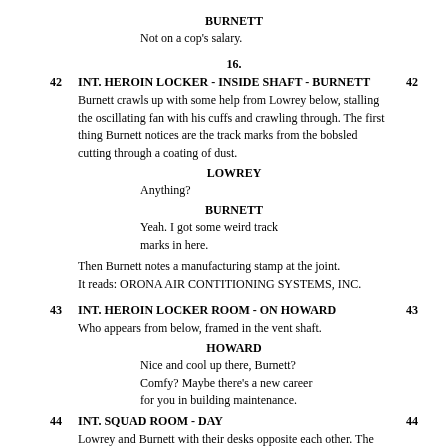BURNETT
Not on a cop's salary.
16.
42   INT. HEROIN LOCKER - INSIDE SHAFT - BURNETT   42
Burnett crawls up with some help from Lowrey below, stalling the oscillating fan with his cuffs and crawling through. The first thing Burnett notices are the track marks from the bobsled cutting through a coating of dust.
LOWREY
Anything?
BURNETT
Yeah. I got some weird track marks in here.
Then Burnett notes a manufacturing stamp at the joint. It reads: ORONA AIR CONTITIONING SYSTEMS, INC.
43   INT. HEROIN LOCKER ROOM - ON HOWARD   43
Who appears from below, framed in the vent shaft.
HOWARD
Nice and cool up there, Burnett? Comfy? Maybe there's a new career for you in building maintenance.
44   INT. SQUAD ROOM - DAY   44
Lowrey and Burnett with their desks opposite each other. The CAMERA CIRCLES while they lay the arm on some informants.
BURNETT